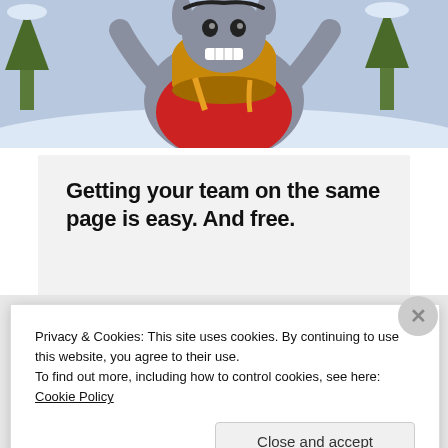[Figure (illustration): Cartoon character (Eeyore-like donkey in red shirt) eating from a large pot, snowy background]
Getting your team on the same page is easy. And free.
[Figure (photo): Row of circular avatar photos of team members, with a blue plus button]
Privacy & Cookies: This site uses cookies. By continuing to use this website, you agree to their use.
To find out more, including how to control cookies, see here: Cookie Policy
Close and accept